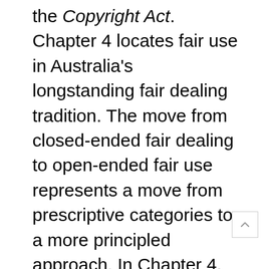the Copyright Act. Chapter 4 locates fair use in Australia's longstanding fair dealing tradition. The move from closed-ended fair dealing to open-ended fair use represents a move from prescriptive categories to a more principled approach. In Chapter 4, the ALRC explains how fair use can encourage public interest and transformative uses, and promote innovation, while at the same time respecting authorship and protecting rights holders' markets.
1.47 Chapter 5 outlines key elements